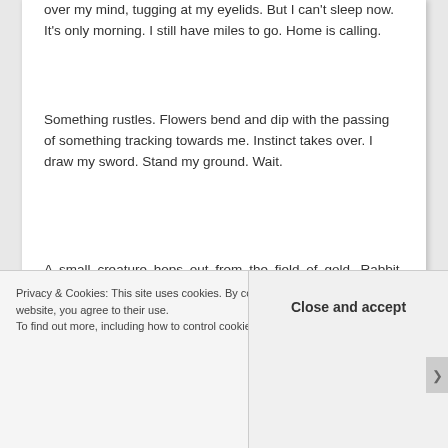over my mind, tugging at my eyelids. But I can't sleep now. It's only morning. I still have miles to go. Home is calling.
Something rustles. Flowers bend and dip with the passing of something tracking towards me. Instinct takes over. I draw my sword. Stand my ground. Wait.
A small creature hops out from the field of gold. Rabbit-sized, with long fur and eyes as wide as teacup saucers. Cute, really. It doesn't seem to have front legs or arms. I guess this is a safe place for the little guy. No predators for miles
Privacy & Cookies: This site uses cookies. By cont website, you agree to their use.
To find out more, including how to control cookie Close and accept